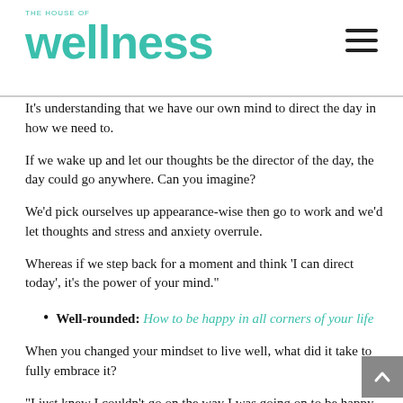The House of Wellness
It’s understanding that we have our own mind to direct the day in how we need to.
If we wake up and let our thoughts be the director of the day, the day could go anywhere. Can you imagine?
We’d pick ourselves up appearance-wise then go to work and we’d let thoughts and stress and anxiety overrule.
Whereas if we step back for a moment and think ‘I can direct today’, it’s the power of your mind.”
Well-rounded: How to be happy in all corners of your life
When you changed your mindset to live well, what did it take to fully embrace it?
“I just knew I couldn’t go on the way I was going on to be happy and healthy.
I realised that there’s no quick fix, no magic bullet, no one is going